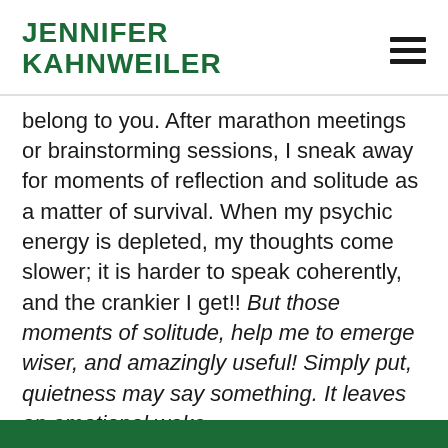JENNIFER KAHNWEILER
belong to you. After marathon meetings or brainstorming sessions, I sneak away for moments of reflection and solitude as a matter of survival. When my psychic energy is depleted, my thoughts come slower; it is harder to speak coherently, and the crankier I get!! But those moments of solitude, help me to emerge wiser, and amazingly useful! Simply put, quietness may say something. It leaves an emotional wake.